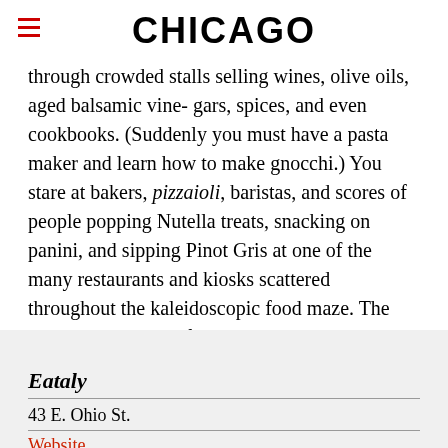CHICAGO
through crowded stalls selling wines, olive oils, aged balsamic vine- gars, spices, and even cookbooks. (Suddenly you must have a pasta maker and learn how to make gnocchi.) You stare at bakers, pizzaioli, baristas, and scores of people popping Nutella treats, snacking on panini, and sipping Pinot Gris at one of the many restaurants and kiosks scattered throughout the kaleidoscopic food maze. The whole place smells fantastic and crackles with excitement.
Eataly
43 E. Ohio St.
Website